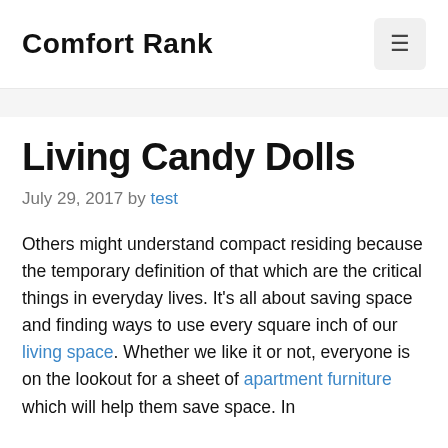Comfort Rank
Living Candy Dolls
July 29, 2017 by test
Others might understand compact residing because the temporary definition of that which are the critical things in everyday lives. It's all about saving space and finding ways to use every square inch of our living space. Whether we like it or not, everyone is on the lookout for a sheet of apartment furniture which will help them save space. In